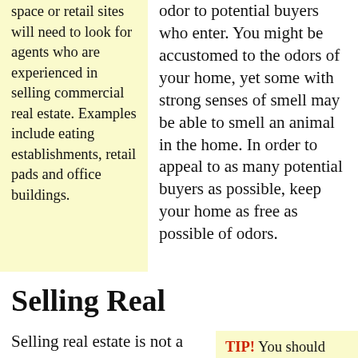space or retail sites will need to look for agents who are experienced in selling commercial real estate. Examples include eating establishments, retail pads and office buildings.
odor to potential buyers who enter. You might be accustomed to the odors of your home, yet some with strong senses of smell may be able to smell an animal in the home. In order to appeal to as many potential buyers as possible, keep your home as free as possible of odors.
Selling Real
Selling real estate is not a basic concept; however, it is possible to make a profit
TIP! You should take care to make your